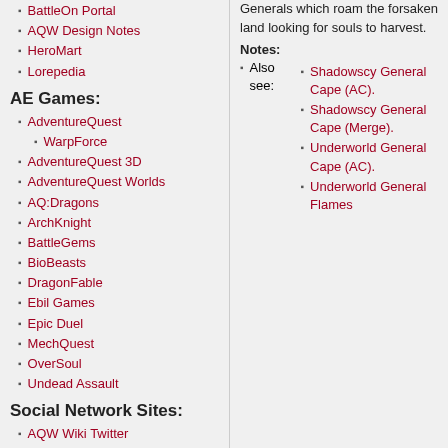BattleOn Portal
AQW Design Notes
HeroMart
Lorepedia
AE Games:
AdventureQuest
WarpForce
AdventureQuest 3D
AdventureQuest Worlds
AQ:Dragons
ArchKnight
BattleGems
BioBeasts
DragonFable
Ebil Games
Epic Duel
MechQuest
OverSoul
Undead Assault
Social Network Sites:
AQW Wiki Twitter
AQWorlds Facebook
AQWorlds Twitter
Generals which roam the forsaken land looking for souls to harvest.
Notes:
Also see:
Shadowscy General Cape (AC).
Shadowscy General Cape (Merge).
Underworld General Cape (AC).
Underworld General Flames